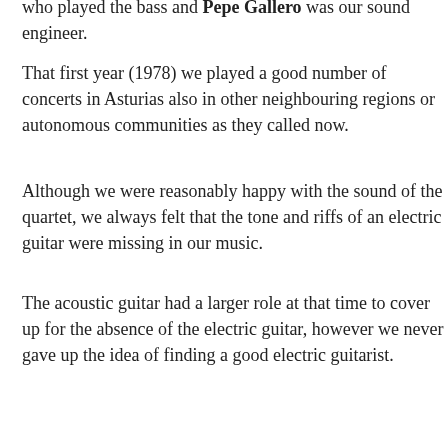who played the bass and Pepe Gallero was our sound engineer.
That first year (1978) we played a good number of concerts in Asturias also in other neighbouring regions or autonomous communities as they called now.
Although we were reasonably happy with the sound of the quartet, we always felt that the tone and riffs of an electric guitar were missing in our music.
The acoustic guitar had a larger role at that time to cover up for the absence of the electric guitar, however we never gave up the idea of finding a good electric guitarist.
When someone told us about Rafa and we finally had the opportunity to play together for a couple of hours, we knew right away that this was the person and sound that we were missing.
It wasn't a hard job at all to adapt our repertory to include his guitar and only a few weeks everything was sounding great, at least at the rehearsal studio.